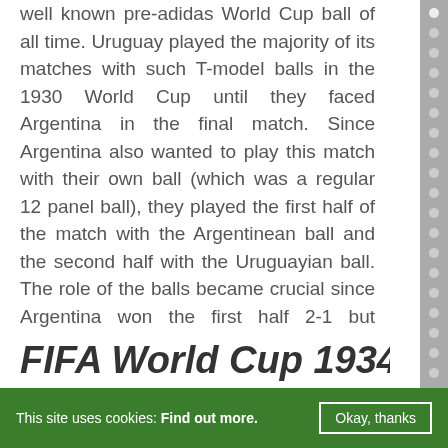well known pre-adidas World Cup ball of all time. Uruguay played the majority of its matches with such T-model balls in the 1930 World Cup until they faced Argentina in the final match. Since Argentina also wanted to play this match with their own ball (which was a regular 12 panel ball), they played the first half of the match with the Argentinean ball and the second half with the Uruguayian ball. The role of the balls became crucial since Argentina won the first half 2-1 but Uruguay came back into the game and finally won it with their T-model 4-2 and became the first World Champions.
FIFA World Cup 1934 It...
This site uses cookies: Find out more.